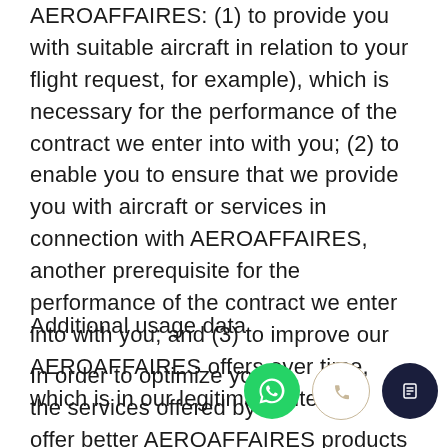AEROAFFAIRES: (1) to provide you with suitable aircraft in relation to your flight request, for example), which is necessary for the performance of the contract we enter into with you; (2) to enable you to ensure that we provide you with aircraft or services in connection with AEROAFFAIRES, another prerequisite for the performance of the contract we enter into with you; and (3) to improve our AEROAFFAIRES offers over time, which is in our legitimate interest.
Additional usage data
In order to optimize yo the services offered by offer better AEROAFFAIRES products and